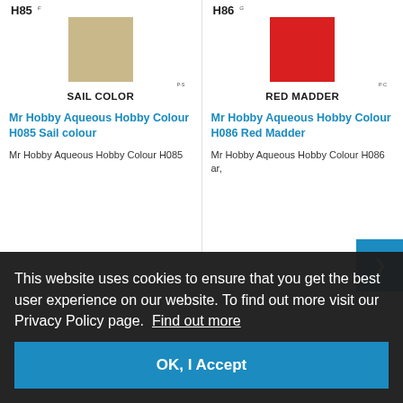[Figure (illustration): Color swatch for H85 Sail Color - tan/khaki colored square with code labels]
SAIL COLOR
Mr Hobby Aqueous Hobby Colour H085 Sail colour
Mr Hobby Aqueous Hobby Colour H085
[Figure (illustration): Color swatch for H86 Red Madder - bright red colored square with code labels]
RED MADDER
Mr Hobby Aqueous Hobby Colour H086 Red Madder
Mr Hobby Aqueous Hobby Colour H086
This website uses cookies to ensure that you get the best user experience on our website. To find out more visit our Privacy Policy page.  Find out more
OK, I Accept